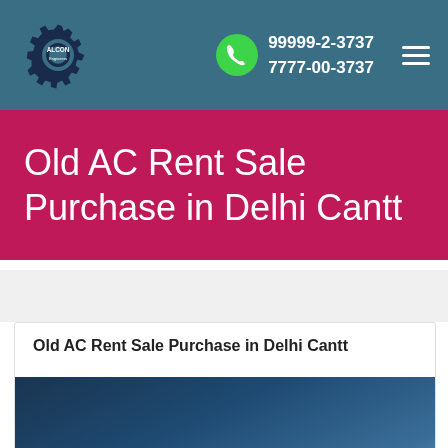ALCON Engineers | 99999-2-3737 | 7777-00-3737
Old AC Rent Sale Purchase in Delhi Cantt
Old AC Rent Sale Purchase in Delhi Cantt
[Figure (photo): Dark blue background image with text 'We can prevent climate change.']